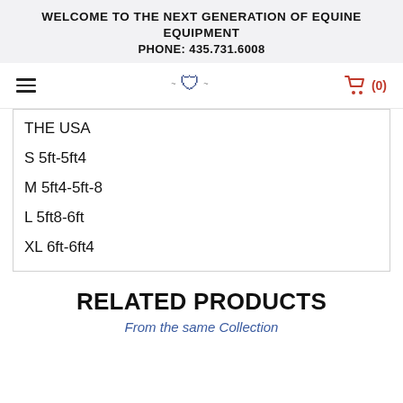WELCOME TO THE NEXT GENERATION OF EQUINE EQUIPMENT
PHONE: 435.731.6008
THE USA
S 5ft-5ft4
M 5ft4-5ft-8
L 5ft8-6ft
XL 6ft-6ft4
RELATED PRODUCTS
From the same Collection